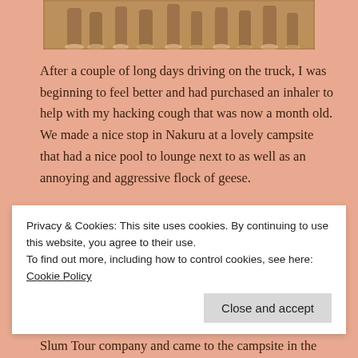[Figure (photo): Partial bottom view of a photograph showing children's feet and legs on dusty ground]
After a couple of long days driving on the truck, I was beginning to feel better and had purchased an inhaler to help with my hacking cough that was now a month old. We made a nice stop in Nakuru at a lovely campsite that had a nice pool to lounge next to as well as an annoying and aggressive flock of geese.
I had no plans specifically when we arrived in Kampala, but I decided to do the "Slum Tour" as I was interested in seeing how many poor Ugandans living in the capital dwell.
Privacy & Cookies: This site uses cookies. By continuing to use this website, you agree to their use.
To find out more, including how to control cookies, see here: Cookie Policy
Slum Tour company and came to the campsite in the